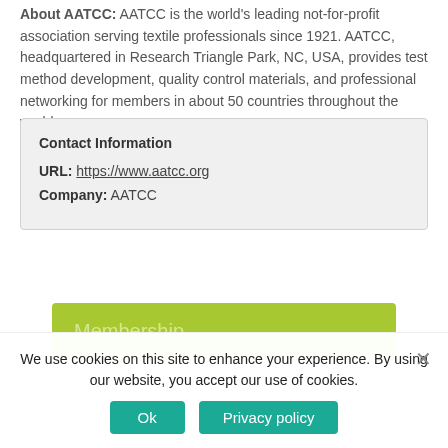About AATCC: AATCC is the world's leading not-for-profit association serving textile professionals since 1921. AATCC, headquartered in Research Triangle Park, NC, USA, provides test method development, quality control materials, and professional networking for members in about 50 countries throughout the world.
| Contact Information |
| URL: | https://www.aatcc.org |
| Company: | AATCC |
Membership
We use cookies on this site to enhance your experience. By using our website, you accept our use of cookies.